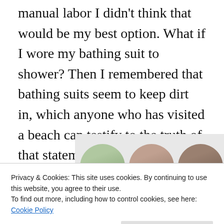manual labor I didn't think that would be my best option. What if I wore my bathing suit to shower? Then I remembered that bathing suits seem to keep dirt in, which anyone who has visited a beach can testify to the truth of that statement.  Instead, I decided I'd shower hunched over and as quickly as possible. No one was going to find me dead in the shower.  Over 15 years later, I'm still alive so I must have showered correctly.
[Figure (photo): Row of four circular avatar/profile photos partially visible at bottom: a woman with light skin, a woman with medium skin and dark hair, a man with darker skin, and a blue circle with white plus icon, all on a light grey background.]
Privacy & Cookies: This site uses cookies. By continuing to use this website, you agree to their use.
To find out more, including how to control cookies, see here: Cookie Policy